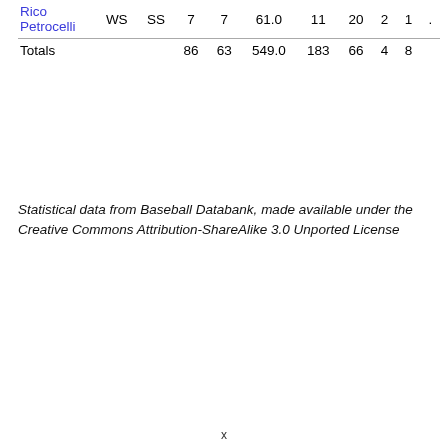| Name | Series | Pos | G | GS | IP | BFP | Out | W | L |  |
| --- | --- | --- | --- | --- | --- | --- | --- | --- | --- | --- |
| Rico Petrocelli | WS | SS | 7 | 7 | 61.0 | 11 | 20 | 2 | 1 | . |
| Totals |  |  | 86 | 63 | 549.0 | 183 | 66 | 4 | 8 |  |
Statistical data from Baseball Databank, made available under the Creative Commons Attribution-ShareAlike 3.0 Unported License
x